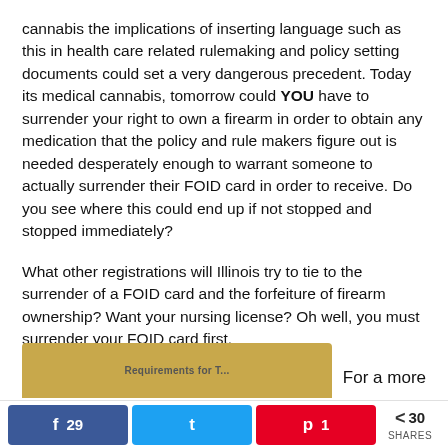cannabis the implications of inserting language such as this in health care related rulemaking and policy setting documents could set a very dangerous precedent. Today its medical cannabis, tomorrow could YOU have to surrender your right to own a firearm in order to obtain any medication that the policy and rule makers figure out is needed desperately enough to warrant someone to actually surrender their FOID card in order to receive. Do you see where this could end up if not stopped and stopped immediately?
What other registrations will Illinois try to tie to the surrender of a FOID card and the forfeiture of firearm ownership? Want your nursing license? Oh well, you must surrender your FOID card first.
[Figure (screenshot): Partial view of a document with tan/brown background showing text 'Requirements for T...' partially visible]
For a more